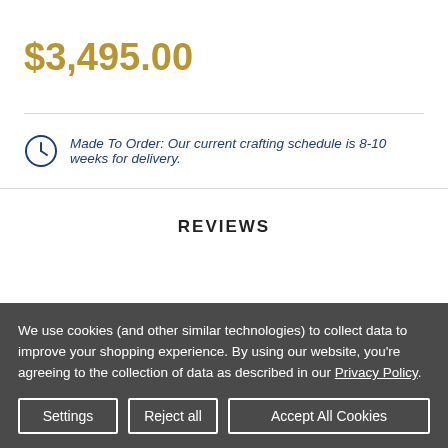$3,495.00
Made To Order: Our current crafting schedule is 8-10 weeks for delivery.
REVIEWS
We use cookies (and other similar technologies) to collect data to improve your shopping experience. By using our website, you're agreeing to the collection of data as described in our Privacy Policy.
Settings | Reject all | Accept All Cookies